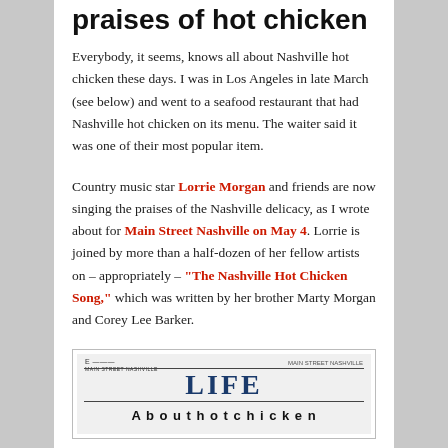praises of hot chicken
Everybody, it seems, knows all about Nashville hot chicken these days. I was in Los Angeles in late March (see below) and went to a seafood restaurant that had Nashville hot chicken on its menu. The waiter said it was one of their most popular item.
Country music star Lorrie Morgan and friends are now singing the praises of the Nashville delicacy, as I wrote about for Main Street Nashville on May 4. Lorrie is joined by more than a half-dozen of her fellow artists on – appropriately – "The Nashville Hot Chicken Song," which was written by her brother Marty Morgan and Corey Lee Barker.
[Figure (screenshot): Newspaper page showing 'LIFE' section header in blue with horizontal rules, partial headline below about hot chicken]